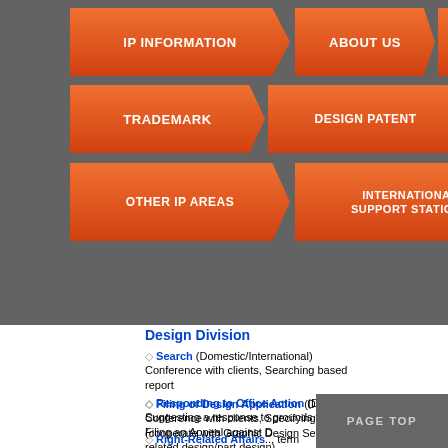[Figure (screenshot): Navigation menu with orange buttons: IP INFORMATION, ABOUT US, PATENT, TRADEMARK, DESIGN PATENT, COPYRIGHT, OTHER IP AREAS, INTERNATIONAL SUPPORT STATIONS, IP LAWS on dark grey background]
Design Division
◇ Search (Domestic/International) Conference with clients, Searching based report
◇ Filing of Design Application (Domestic/...) Conference with clients, Specifying design (cooperate with Graphic Design Section), related design/part design)
◇ Responding to Office Action (Domestic/...) Suggesting a response to grounds for rejection, Filing an Appeal against Decision of rejection
◇ Right-Related Affairs (...term) Analyses, Requesting an Invalidation Trial,
[Figure (screenshot): PAGE TOP button overlay in dark grey]